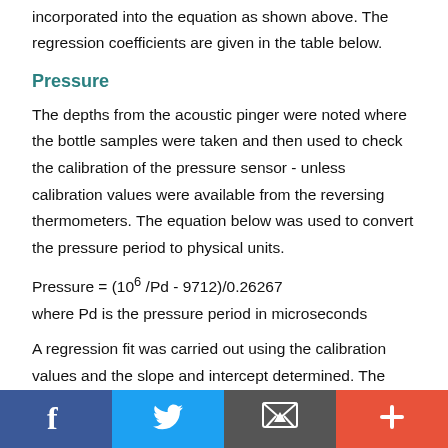incorporated into the equation as shown above. The regression coefficients are given in the table below.
Pressure
The depths from the acoustic pinger were noted where the bottle samples were taken and then used to check the calibration of the pressure sensor - unless calibration values were available from the reversing thermometers. The equation below was used to convert the pressure period to physical units.
where Pd is the pressure period in microseconds
A regression fit was carried out using the calibration values and the slope and intercept determined. The pressure values